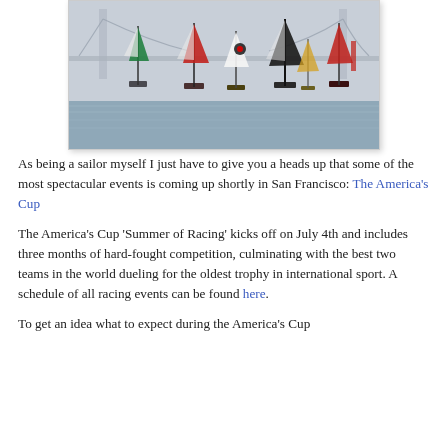[Figure (photo): Photo of multiple racing sailboats (America's Cup style catamarans) on the water in San Francisco Bay, with the Golden Gate Bridge visible in the background through fog.]
As being a sailor myself I just have to give you a heads up that some of the most spectacular events is coming up shortly in San Francisco: The America's Cup
The America's Cup 'Summer of Racing' kicks off on July 4th and includes three months of hard-fought competition, culminating with the best two teams in the world dueling for the oldest trophy in international sport. A schedule of all racing events can be found here.
To get an idea what to expect during the America's Cup